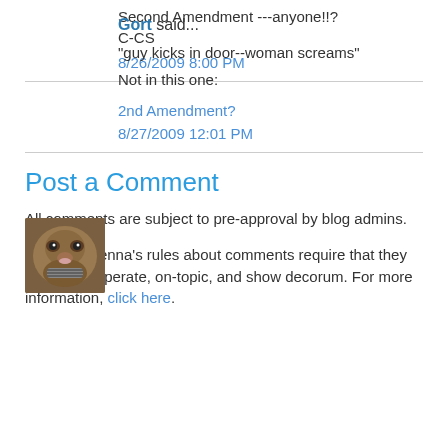Second Amendment ---anyone!!?
C-CS
8/26/2009 8:00 PM
Gort said...
[Figure (photo): Avatar photo of commenter Gort - appears to be an animal or creature face]
"guy kicks in door--woman screams"
Not in this one:
2nd Amendment?
8/27/2009 12:01 PM
Post a Comment
All comments are subject to pre-approval by blog admins.
Gates of Vienna's rules about comments require that they be civil, temperate, on-topic, and show decorum. For more information, click here.